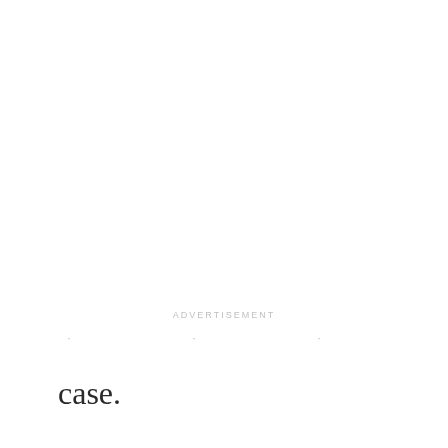ADVERTISEMENT
case.
ADVERTISEMENT